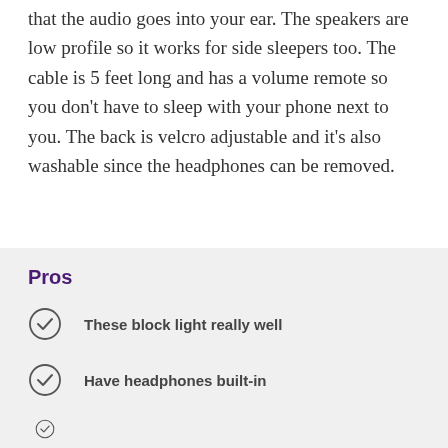that the audio goes into your ear. The speakers are low profile so it works for side sleepers too. The cable is 5 feet long and has a volume remote so you don't have to sleep with your phone next to you. The back is velcro adjustable and it's also washable since the headphones can be removed.
Pros
These block light really well
Have headphones built-in